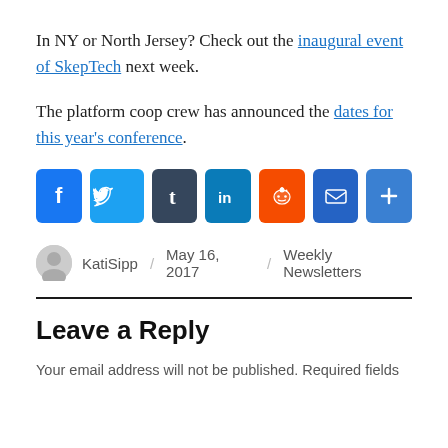In NY or North Jersey? Check out the inaugural event of SkepTech next week.
The platform coop crew has announced the dates for this year's conference.
[Figure (other): Social share buttons: Facebook, Twitter, Tumblr, LinkedIn, Reddit, Email, More]
KatiSipp / May 16, 2017 / Weekly Newsletters
Leave a Reply
Your email address will not be published. Required fields